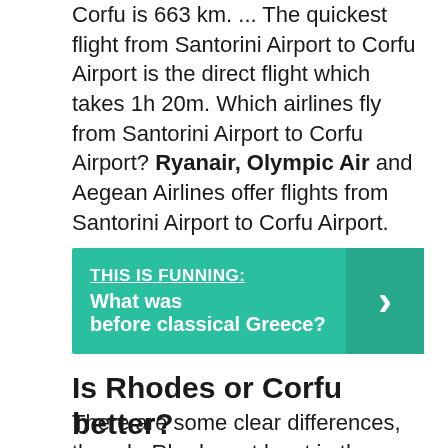Corfu is 663 km. ... The quickest flight from Santorini Airport to Corfu Airport is the direct flight which takes 1h 20m. Which airlines fly from Santorini Airport to Corfu Airport? Ryanair, Olympic Air and Aegean Airlines offer flights from Santorini Airport to Corfu Airport.
THIS IS FUNNING: What was before classical Greece?
Is Rhodes or Corfu better?
There are some clear differences, though. Rhodes, at least in the main town, is very historic. ... Generally speaking, Corfu is a touch quieter and it's easier to find